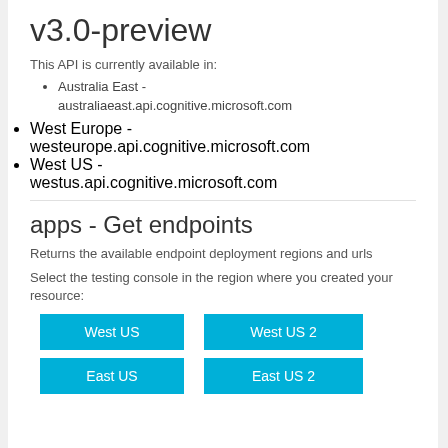v3.0-preview
This API is currently available in:
Australia East - australiaeast.api.cognitive.microsoft.com
West Europe - westeurope.api.cognitive.microsoft.com
West US - westus.api.cognitive.microsoft.com
apps - Get endpoints
Returns the available endpoint deployment regions and urls
Select the testing console in the region where you created your resource:
[Figure (infographic): Four region buttons: West US, West US 2, East US, East US 2]